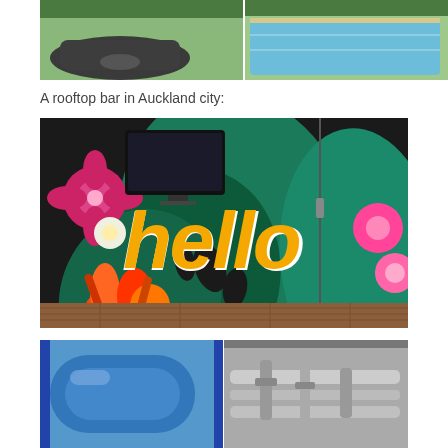[Figure (photo): Rooftop area with dark wicker furniture set and a blue swimming pool in background, outdoor patio setting.]
A rooftop bar in Auckland city:
[Figure (photo): Colorful tropical mural on a wall featuring the word 'hello' in large yellow graffiti letters with white outline, surrounded by tropical flowers and leaves including hibiscus and monstera leaves. A TV screen is mounted on the upper left portion of the wall. The floor is wooden decking.]
[Figure (photo): Two-panel image: left panel shows a blue curved industrial pipe or tube; right panel shows industrial piping and equipment on an exterior building wall.]